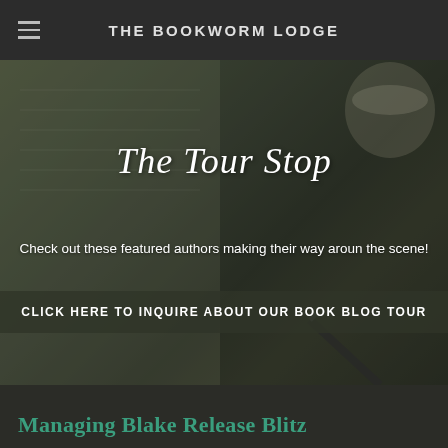THE BOOKWORM LODGE
[Figure (photo): Background photo of an open notebook/journal with a pen, coffee cup, and dark moody lighting, overlaid with tour stop content]
The Tour Stop
Check out these featured authors making their way around the scene!
CLICK HERE TO INQUIRE ABOUT OUR BOOK BLOG TOUR
Managing Blake Release Blitz